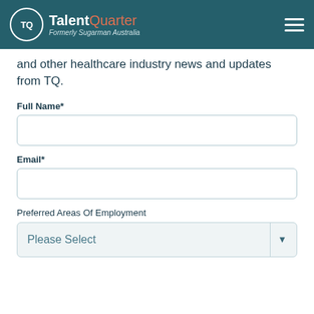TQ Talent Quarter – Formerly Sugarman Australia
and other healthcare industry news and updates from TQ.
Full Name*
Email*
Preferred Areas Of Employment
Please Select